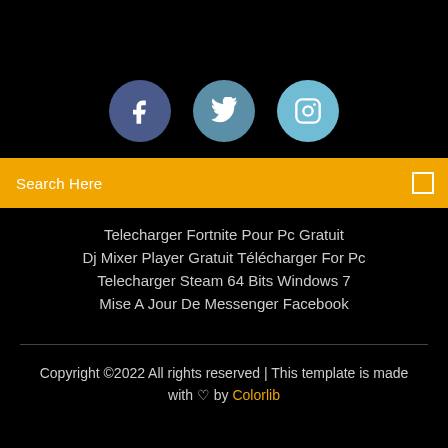Cheat code for GTA 5 | Grand Theft AUTO V Games - Slunečnice.cz
[Figure (infographic): Three social media icons: Facebook (dark blue circle with f), Twitter (teal circle with bird), Instagram (light blue circle with camera)]
Search Here
Telecharger Fortnite Pour Pc Gratuit
Dj Mixer Player Gratuit Télécharger For Pc
Telecharger Steam 64 Bits Windows 7
Mise A Jour De Messenger Facebook
Copyright ©2022 All rights reserved | This template is made with ♡ by Colorlib